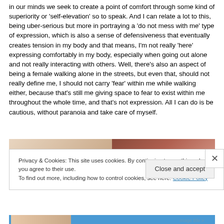in our minds we seek to create a point of comfort through some kind of superiority or 'self-elevation' so to speak. And I can relate a lot to this, being uber-serious but more in portraying a 'do not mess with me' type of expression, which is also a sense of defensiveness that eventually creates tension in my body and that means, I'm not really 'here' expressing comfortably in my body, especially when going out alone and not really interacting with others. Well, there's also an aspect of being a female walking alone in the streets, but even that, should not really define me, I should not carry 'fear' within me while walking either, because that's still me giving space to fear to exist within me throughout the whole time, and that's not expression. All I can do is be cautious, without paranoia and take care of myself.
[Figure (photo): Partial image strip showing two sections: left portion appears to be a light-toned photo, right portion shows darker tones possibly a close-up photo]
Privacy & Cookies: This site uses cookies. By continuing to use this website, you agree to their use.
To find out more, including how to control cookies, see here: Cookie Policy
Close and accept